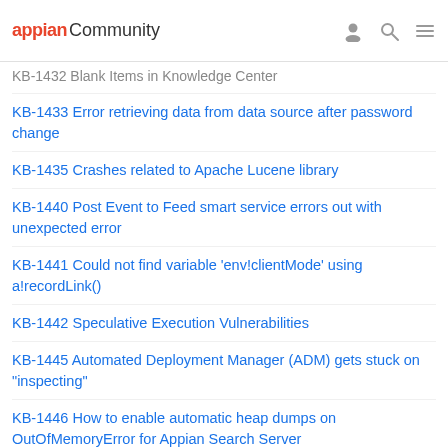appian Community
KB-1432 Blank Items in Knowledge Center
KB-1433 Error retrieving data from data source after password change
KB-1435 Crashes related to Apache Lucene library
KB-1440 Post Event to Feed smart service errors out with unexpected error
KB-1441 Could not find variable 'env!clientMode' using a!recordLink()
KB-1442 Speculative Execution Vulnerabilities
KB-1445 Automated Deployment Manager (ADM) gets stuck on "inspecting"
KB-1446 How to enable automatic heap dumps on OutOfMemoryError for Appian Search Server
KB-1447 Vulnerability Testing
KB-1448 "The artifact URI is not a valid plugin artifact" error thrown when deploying the SAP connector
KB-1449 "Error evaluating function 'ldapsearch': For input string:" error thrown when using ldapSearch function over LDAPS
KB-1450 How to troubleshoot SAML login issues impacting only some users
KB-1451 Unsupported API version error when trying to use the Microsoft Outlook Task Viewer Add-in